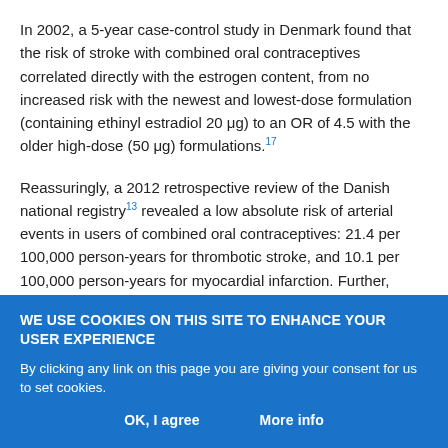In 2002, a 5-year case-control study in Denmark found that the risk of stroke with combined oral contraceptives correlated directly with the estrogen content, from no increased risk with the newest and lowest-dose formulation (containing ethinyl estradiol 20 μg) to an OR of 4.5 with the older high-dose (50 μg) formulations.17
Reassuringly, a 2012 retrospective review of the Danish national registry13 revealed a low absolute risk of arterial events in users of combined oral contraceptives: 21.4 per 100,000 person-years for thrombotic stroke, and 10.1 per 100,000 person-years for myocardial infarction. Further, these risks were substantially lower with 20-μg
WE USE COOKIES ON THIS SITE TO ENHANCE YOUR USER EXPERIENCE
By clicking any link on this page you are giving your consent for us to set cookies.
OK, I agree   More info